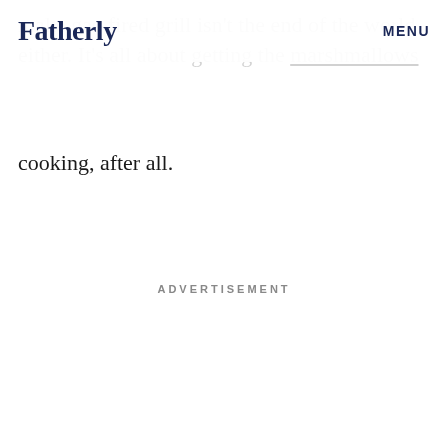Fatherly  MENU
make gas-fired grill isn't the end of the world either. It's all about getting the marshmallows cooking, after all.
cooking, after all.
ADVERTISEMENT